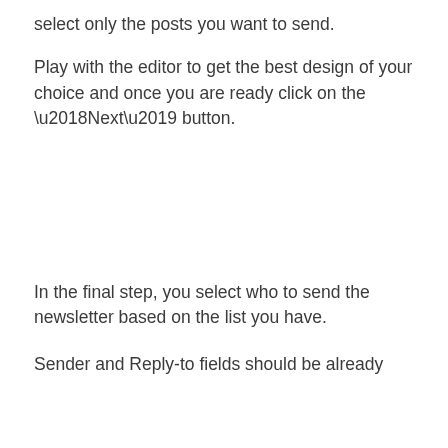select only the posts you want to send.
Play with the editor to get the best design of your choice and once you are ready click on the ‘Next’ button.
In the final step, you select who to send the newsletter based on the list you have.
Sender and Reply-to fields should be already